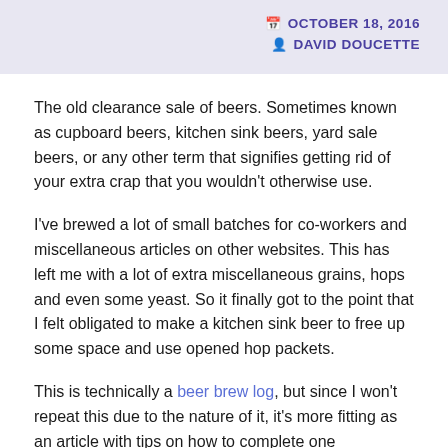OCTOBER 18, 2016  DAVID DOUCETTE
The old clearance sale of beers. Sometimes known as cupboard beers, kitchen sink beers, yard sale beers, or any other term that signifies getting rid of your extra crap that you wouldn't otherwise use.
I've brewed a lot of small batches for co-workers and miscellaneous articles on other websites. This has left me with a lot of extra miscellaneous grains, hops and even some yeast. So it finally got to the point that I felt obligated to make a kitchen sink beer to free up some space and use opened hop packets.
This is technically a beer brew log, but since I won't repeat this due to the nature of it, it's more fitting as an article with tips on how to complete one successfully. And by successfully, I mean actually taste good at the end of it.